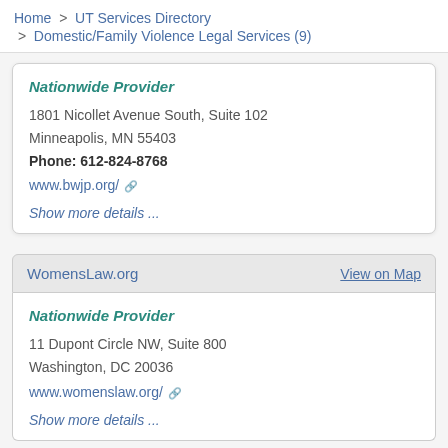Home > UT Services Directory > Domestic/Family Violence Legal Services (9)
Nationwide Provider
1801 Nicollet Avenue South, Suite 102
Minneapolis, MN 55403
Phone: 612-824-8768
www.bwjp.org/
Show more details...
WomensLaw.org   View on Map
Nationwide Provider
11 Dupont Circle NW, Suite 800
Washington, DC 20036
www.womenslaw.org/
Show more details...